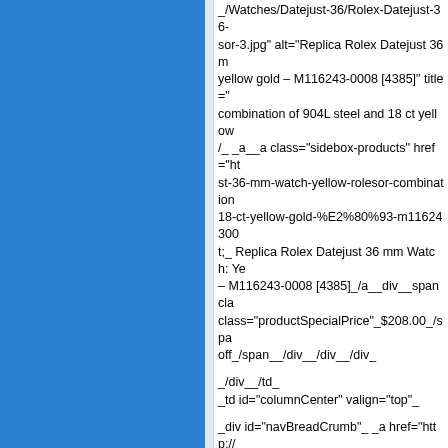[Figure (other): Blue sidebar panel on the left side of the page]
_/Watches/Datejust-36/Rolex-Datejust-36-sor-3.jpg" alt="Replica Rolex Datejust 36 m yellow gold – M116243-0008 [4385]" title=" combination of 904L steel and 18 ct yellow /__/a__a class="sidebox-products" href="ht st-36-mm-watch-yellow-rolesor-combination 18-ct-yellow-gold-%E2%80%93-m11624300 t;_ Replica Rolex Datejust 36 mm Watch: Ye – M116243-0008 [4385]_/a__div__span cla class="productSpecialPrice"_$208.00_/spa off_/span__/div__/div__/div_
_/div__/td_
_td id="columnCenter" valign="top"_
_div id="navBreadCrumb"_ _a href="http:// nbsp:::&nbsp;
Replica Panerai
_/div_
_div class="centerColumn" id="indexProdu
_h1 id="productListHeading"_Replica Pane